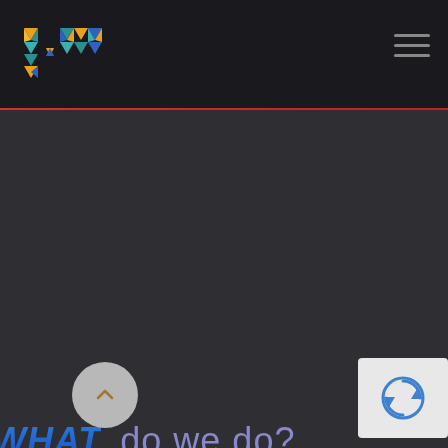[Figure (logo): Geometric logo made of colorful triangular/diamond shapes forming letters I and M, with dot separator. Colors include teal, yellow-orange, and blue.]
WHAT do we do?
HOW do we do it?